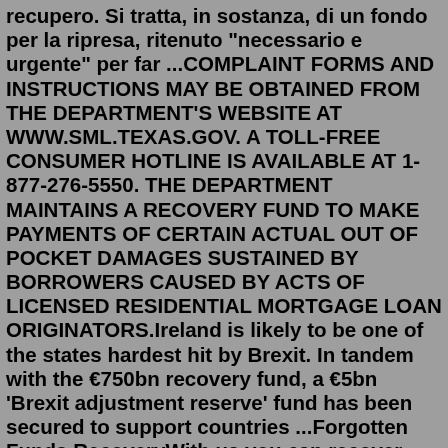recupero. Si tratta, in sostanza, di un fondo per la ripresa, ritenuto "necessario e urgente" per far ...COMPLAINT FORMS AND INSTRUCTIONS MAY BE OBTAINED FROM THE DEPARTMENT'S WEBSITE AT WWW.SML.TEXAS.GOV. A TOLL-FREE CONSUMER HOTLINE IS AVAILABLE AT 1-877-276-5550. THE DEPARTMENT MAINTAINS A RECOVERY FUND TO MAKE PAYMENTS OF CERTAIN ACTUAL OUT OF POCKET DAMAGES SUSTAINED BY BORROWERS CAUSED BY ACTS OF LICENSED RESIDENTIAL MORTGAGE LOAN ORIGINATORS.Ireland is likely to be one of the states hardest hit by Brexit. In tandem with the €750bn recovery fund, a €5bn 'Brexit adjustment reserve' fund has been secured to support countries ...Forgotten Funds RecoveryWith us you can recover your lost funds from forex scam brokers, business loan scams, romance scams, cryptocurrency scams etc. We run a forensic investigation on new cases in order to trace and track down the movement of funds after a scam has occured. We are your best short at